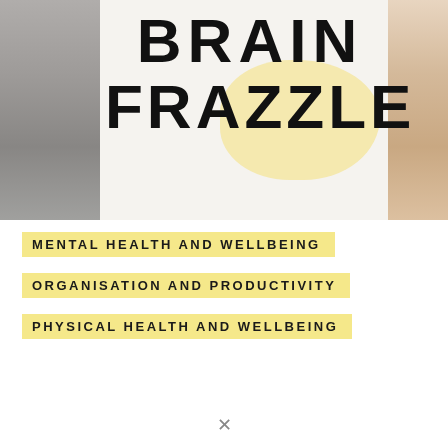[Figure (illustration): Book cover hero image with gray panel on left, cream/white center panel with yellow blob shape, large bold text 'BRAIN FRAZZLE', and skin-toned panel on right]
BRAIN FRAZZLE
MENTAL HEALTH AND WELLBEING
ORGANISATION AND PRODUCTIVITY
PHYSICAL HEALTH AND WELLBEING